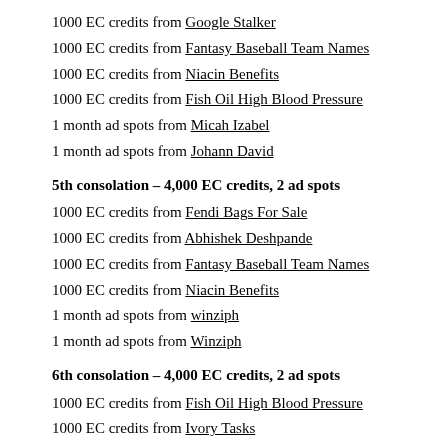1000 EC credits from Google Stalker
1000 EC credits from Fantasy Baseball Team Names
1000 EC credits from Niacin Benefits
1000 EC credits from Fish Oil High Blood Pressure
1 month ad spots from Micah Izabel
1 month ad spots from Johann David
5th consolation – 4,000 EC credits, 2 ad spots
1000 EC credits from Fendi Bags For Sale
1000 EC credits from Abhishek Deshpande
1000 EC credits from Fantasy Baseball Team Names
1000 EC credits from Niacin Benefits
1 month ad spots from winziph
1 month ad spots from Winziph
6th consolation – 4,000 EC credits, 2 ad spots
1000 EC credits from Fish Oil High Blood Pressure
1000 EC credits from Ivory Tasks
1000 EC credits from Posh Thoughts